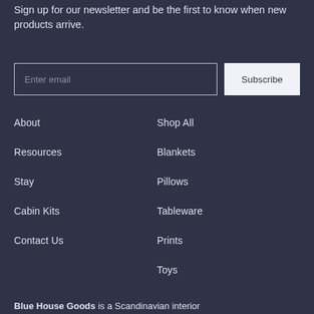Sign up for our newsletter and be the first to know when new products arrive.
Enter email
Subscribe
About
Shop All
Resources
Blankets
Stay
Pillows
Cabin Kits
Tableware
Contact Us
Prints
Toys
Blue House Goods is a Scandinavian interior